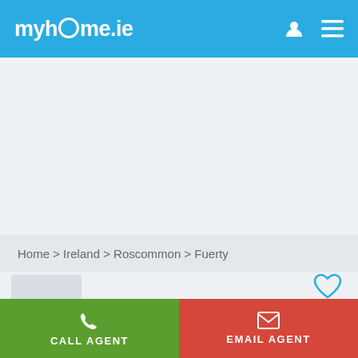myhome.ie
Home > Ireland > Roscommon > Fuerty
[Figure (screenshot): Property listing image area (blank/loading)]
[Figure (illustration): Heart/favourite icon (outline heart in blue)]
CALL AGENT
EMAIL AGENT